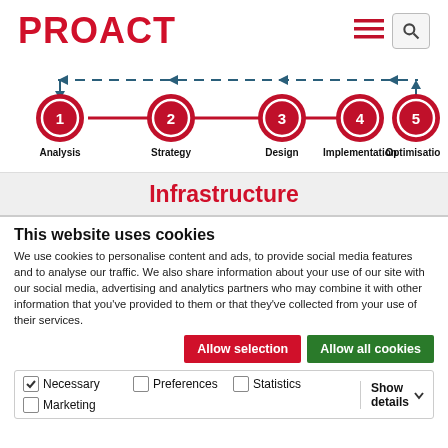[Figure (logo): PROACT logo in red bold text]
[Figure (flowchart): 5-step process diagram with steps: Analysis (1), Strategy (2), Design (3), Implementation (4), Optimisation (5), connected by red line with dashed arrow feedback loop above]
Infrastructure
This website uses cookies
We use cookies to personalise content and ads, to provide social media features and to analyse our traffic. We also share information about your use of our site with our social media, advertising and analytics partners who may combine it with other information that you've provided to them or that they've collected from your use of their services.
Allow selection | Allow all cookies
Necessary | Preferences | Statistics | Marketing | Show details